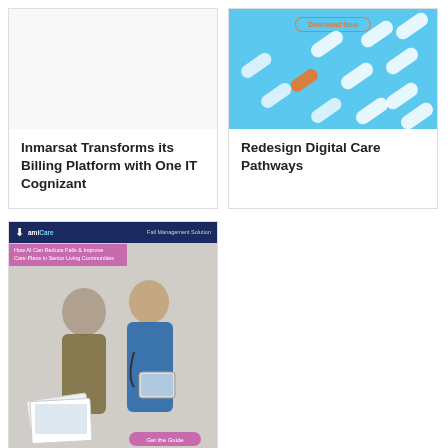[Figure (illustration): Card with blank white image area for Inmarsat case study]
Inmarsat Transforms its Billing Platform with One IT Cognizant
[Figure (photo): Blue background with white and orange pill/capsule shapes scattered, with a Download Now button at top]
Redesign Digital Care Pathways
[Figure (photo): amiCare Fall Management Solution brochure cover showing an elderly patient and a nurse in blue scrubs reviewing a tablet, with text 'How AI Can Reduce Falls & Improve Care Plans in Senior Living Communities' and a 'Get the Guide' button]
How AI Can Reduce Falls and Improve...